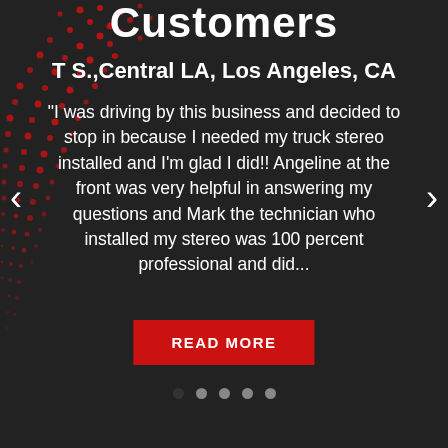Customers
T S.,Central LA, Los Angeles, CA
"I was driving by this business and decided to stop in because I needed my truck stereo installed and I'm glad I did!! Angeline at the front was very helpful in answering my questions and Mark the technician who installed my stereo was 100 percent professional and did...
READ MORE